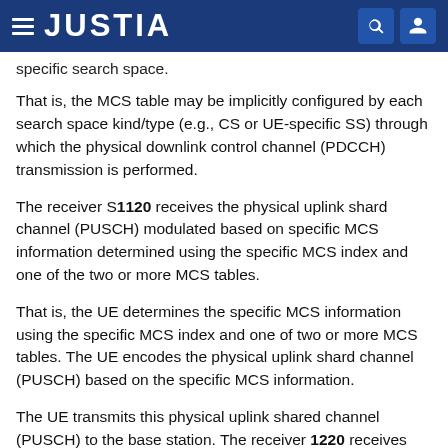JUSTIA
specific search space.
That is, the MCS table may be implicitly configured by each search space kind/type (e.g., CS or UE-specific SS) through which the physical downlink control channel (PDCCH) transmission is performed.
The receiver S1120 receives the physical uplink shard channel (PUSCH) modulated based on specific MCS information determined using the specific MCS index and one of the two or more MCS tables.
That is, the UE determines the specific MCS information using the specific MCS index and one of two or more MCS tables. The UE encodes the physical uplink shard channel (PUSCH) based on the specific MCS information.
The UE transmits this physical uplink shared channel (PUSCH) to the base station. The receiver 1220 receives